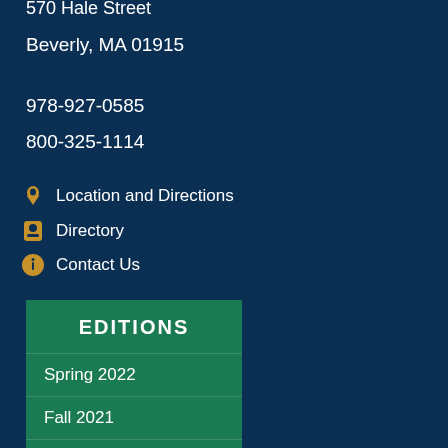570 Hale Street
Beverly, MA 01915
978-927-0585
800-325-1114
Location and Directions
Directory
Contact Us
EDITIONS
Spring 2022
Fall 2021
Spring 2021
Fall 2020
Summer 2020